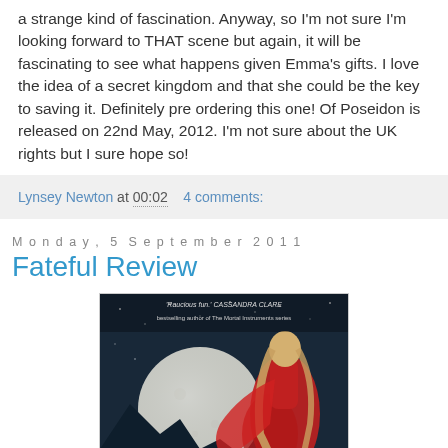a strange kind of fascination. Anyway, so I'm not sure I'm looking forward to THAT scene but again, it will be fascinating to see what happens given Emma's gifts. I love the idea of a secret kingdom and that she could be the key to saving it. Definitely pre ordering this one! Of Poseidon is released on 22nd May, 2012. I'm not sure about the UK rights but I sure hope so!
Lynsey Newton at 00:02   4 comments:
Monday, 5 September 2011
Fateful Review
[Figure (photo): Book cover image showing a young woman with long blonde hair wearing a red dress, standing in front of a large full moon against a dark blue night sky. Text at top reads 'Raucous fun - CASSANDRA CLARE, bestselling author of The Mortal Instruments series'.]